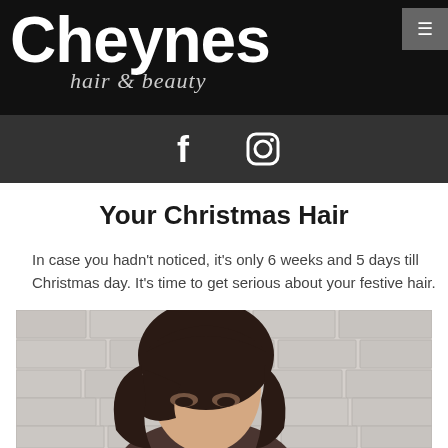Cheynes hair & beauty
[Figure (logo): Cheynes hair & beauty logo with white bold text on black background]
[Figure (infographic): Dark social bar with Facebook and Instagram icons]
Your Christmas Hair
In case you hadn't noticed, it's only 6 weeks and 5 days till Christmas day. It's time to get serious about your festive hair.
[Figure (photo): Photo of a person with dark shoulder-length hair with side-swept fringe against a white brick wall background]